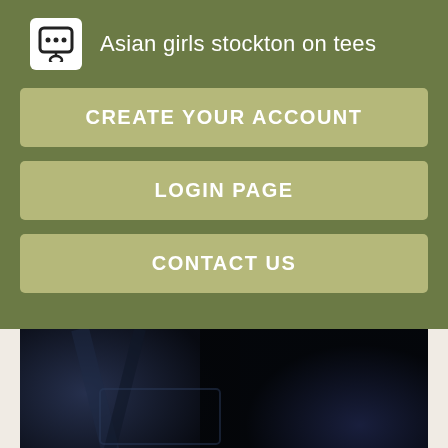Asian girls stockton on tees
CREATE YOUR ACCOUNT
LOGIN PAGE
CONTACT US
[Figure (photo): Dark blurred photo of denim jeans fabric with a watermark text reading 'Made with PicsArt' or similar]
She even had bust reduction surgery. The author references her ample ass multiple times in the story to the point I felt sorry for